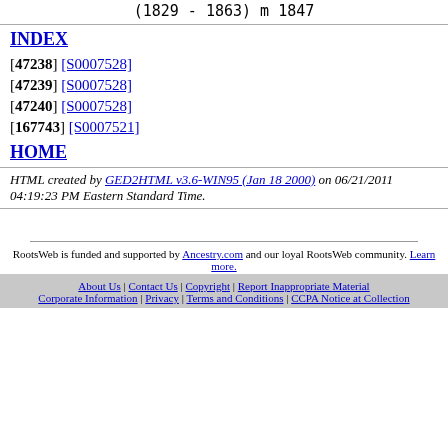(1829 - 1863) m 1847
INDEX
[47238] [S0007528]
[47239] [S0007528]
[47240] [S0007528]
[167743] [S0007521]
HOME
HTML created by GED2HTML v3.6-WIN95 (Jan 18 2000) on 06/21/2011 04:19:23 PM Eastern Standard Time.
RootsWeb is funded and supported by Ancestry.com and our loyal RootsWeb community. Learn more.
About Us | Contact Us | Copyright | Report Inappropriate Material | Corporate Information | Privacy | Terms and Conditions | CCPA Notice at Collection